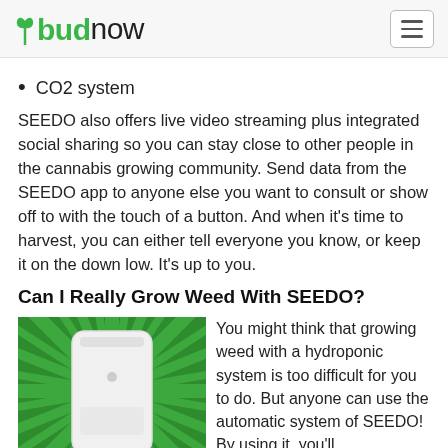budnow
CO2 system
SEEDO also offers live video streaming plus integrated social sharing so you can stay close to other people in the cannabis growing community. Send data from the SEEDO app to anyone else you want to consult or show off to with the touch of a button. And when it’s time to harvest, you can either tell everyone you know, or keep it on the down low. It’s up to you.
Can I Really Grow Weed With SEEDO?
[Figure (photo): White SEEDO hydroponic growing unit against a green starburst background]
You might think that growing weed with a hydroponic system is too difficult for you to do. But anyone can use the automatic system of SEEDO! By using it, you’ll